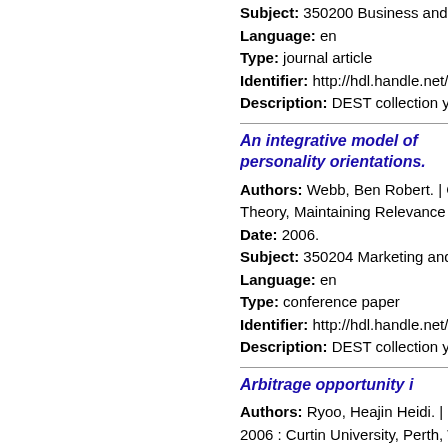Subject: 350200 Business and M...
Language: en
Type: journal article
Identifier: http://hdl.handle.net/19...
Description: DEST collection ye...
An integrative model of personality orientations...
Authors: Webb, Ben Robert. | G... Theory, Maintaining Relevance (0...
Date: 2006.
Subject: 350204 Marketing and ...
Language: en
Type: conference paper
Identifier: http://hdl.handle.net/19...
Description: DEST collection ye...
Arbitrage opportunity i...
Authors: Ryoo, Heajin Heidi. | S... 2006 : Curtin University, Perth, W...
Date: 2006.
Subject: 340203 Finance Econo...